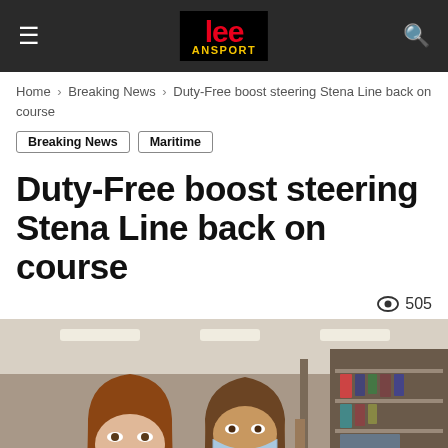lee TRANSPORT [logo header]
Home > Breaking News > Duty-Free boost steering Stena Line back on course
Breaking News
Maritime
Duty-Free boost steering Stena Line back on course
505 views
[Figure (photo): Two women wearing blue face masks shopping in what appears to be a duty-free shop on a ferry, looking at merchandise on display shelves.]